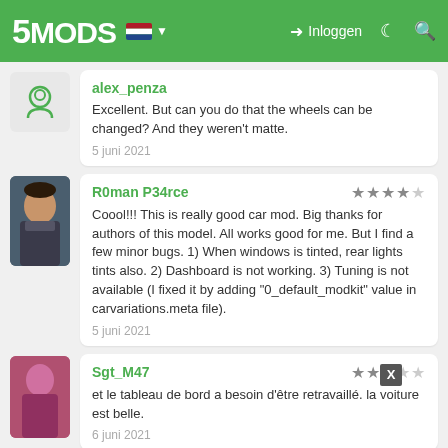5MODS — Inloggen
alex_penza
Excellent. But can you do that the wheels can be changed? And they weren't matte.
5 juni 2021
R0man P34rce ★★★★½
Coool!!! This is really good car mod. Big thanks for authors of this model. All works good for me. But I find a few minor bugs. 1) When windows is tinted, rear lights tints also. 2) Dashboard is not working. 3) Tuning is not available (I fixed it by adding "0_default_modkit" value in carvariations.meta file).
5 juni 2021
Sgt_M47 ★★★★
et le tableau de bord a besoin d'être retravaillé. la voiture est belle.
6 juni 2021